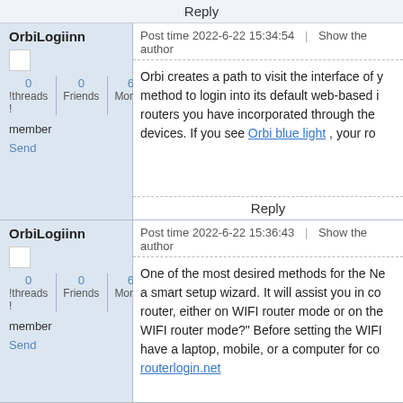Reply
OrbiLogiinn
Post time 2022-6-22 15:34:54  |  Show the author
Orbi creates a path to visit the interface of your method to login into its default web-based i routers you have incorporated through the devices. If you see Orbi blue light , your ro
Reply
OrbiLogiinn
Post time 2022-6-22 15:36:43  |  Show the author
One of the most desired methods for the Ne a smart setup wizard. It will assist you in co router, either on WIFI router mode or on the WIFI router mode?" Before setting the WIFI have a laptop, mobile, or a computer for co routerlogin.net